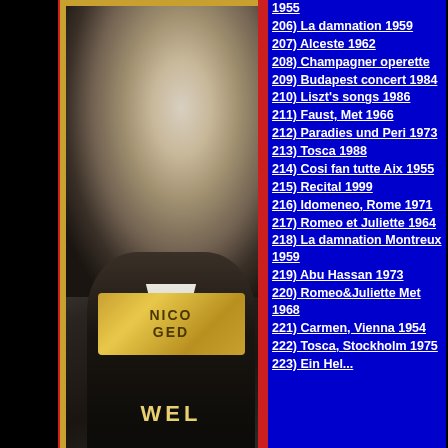[Figure (photo): Portrait photo of a man in a dark suit with white collar, set in a gold frame on a red background with partial nameplate visible reading NICO GED and WEL text at bottom]
1955
206) La damnation 1959
207) Alceste 1962
208) Champagner operette
209) Budapest concert 1984
210) Liszt's songs 1986
211) Faust, Met 1966
212) Paradies und Peri 1973
213) Tosca 1988
214) Cosi fan tutte Aix 1955
215) Recital 1999
216) Idomeneo, Rome 1971
217) Romeo et Juliette 1964
218) La damnation Montreux 1959
219) Abu Hassan 1973
220) Romeo&Juliette Met 1968
221) Carmen, Vienna 1954
222) Tosca, Stockholm 1975
223) Ein Hel...